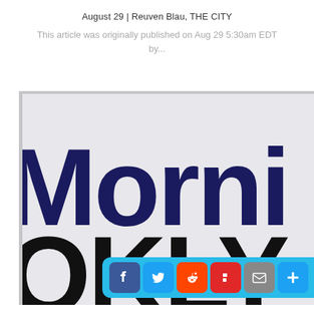August 29 | Reuven Blau, THE CITY
This article was originally published on Aug 29 5:30am EDT by...
[Figure (photo): Close-up photo of a sign showing large bold dark blue text 'Morni' (Morning, cropped) and large bold black text 'OKLY' (Brooklyn, cropped), on a light grey background.]